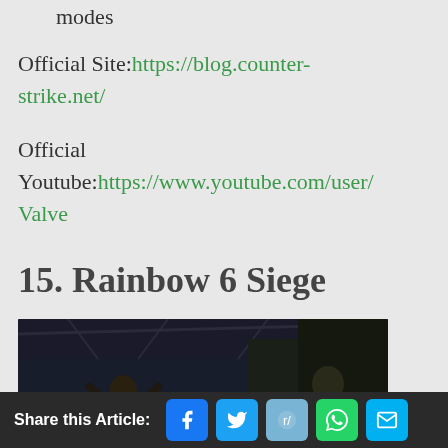modes
Official Site: https://blog.counter-strike.net/
Official Youtube: https://www.youtube.com/user/Valve
15. Rainbow 6 Siege
[Figure (photo): Screenshot from Rainbow 6 Siege showing two characters in a dark industrial environment]
Share this Article: [Facebook] [Twitter] [Reddit] [WhatsApp] [Email]